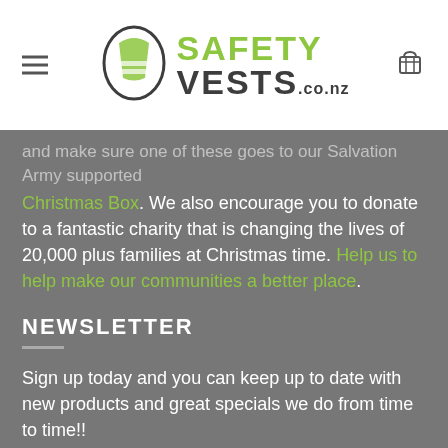Safety Vests .co.nz
Christmas Box. We also encourage you to donate to a fantastic charity that is changing the lives of 20,000 plus families at Christmas time. Help us to help make our communities a better place.
NEWSLETTER
Sign up today and you can keep up to date with new products and great specials we do from time to time!!
CLICK ME!
GENERAL INFORMATION